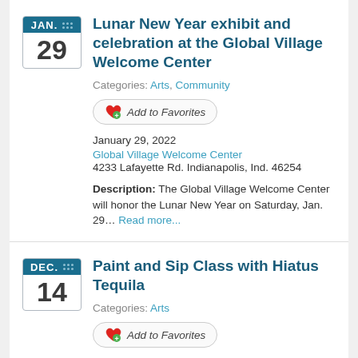Lunar New Year exhibit and celebration at the Global Village Welcome Center
Categories: Arts, Community
Add to Favorites
January 29, 2022
Global Village Welcome Center
4233 Lafayette Rd. Indianapolis, Ind. 46254
Description: The Global Village Welcome Center will honor the Lunar New Year on Saturday, Jan. 29… Read more...
Paint and Sip Class with Hiatus Tequila
Categories: Arts
Add to Favorites